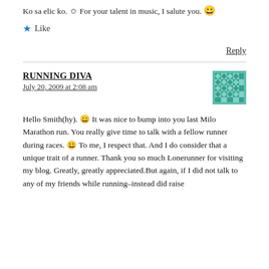Ko sa elic ko. ☺ For your talent in music, I salute you. 😀
★ Like
Reply
RUNNING DIVA
July 20, 2009 at 2:08 am
Hello Smith(hy). 😀 It was nice to bump into you last Milo Marathon run. You really give time to talk with a fellow runner during races. 😀 To me, I respect that. And I do consider that a unique trait of a runner. Thank you so much Lonerunner for visiting my blog. Greatly, greatly appreciated.But again, if I did not talk to any of my friends while running–instead did raise